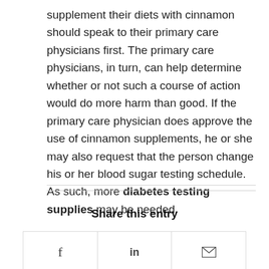supplement their diets with cinnamon should speak to their primary care physicians first. The primary care physicians, in turn, can help determine whether or not such a course of action would do more harm than good. If the primary care physician does approve the use of cinnamon supplements, he or she may also request that the person change his or her blood sugar testing schedule. As such, more diabetes testing supplies may be needed.
Share this entry